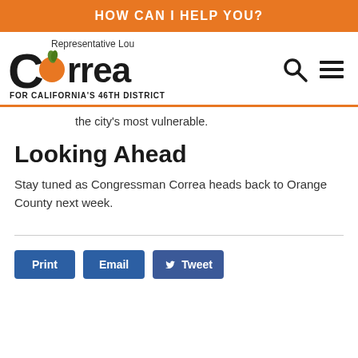HOW CAN I HELP YOU?
[Figure (logo): Representative Lou Correa for California's 46th District logo with orange fruit graphic]
the city's most vulnerable.
Looking Ahead
Stay tuned as Congressman Correa heads back to Orange County next week.
Print  Email  Like 0  Tweet